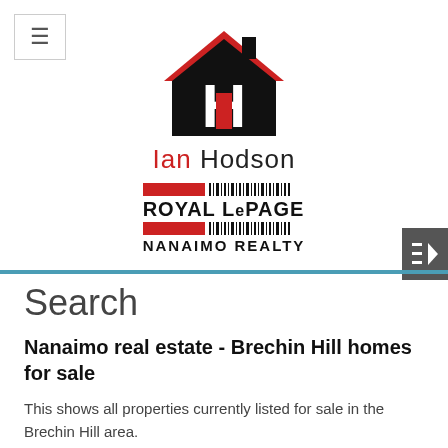[Figure (logo): Ian Hodson Royal LePage Nanaimo Realty logo with house icon]
Search
Nanaimo real estate - Brechin Hill homes for sale
This shows all properties currently listed for sale in the Brechin Hill area.